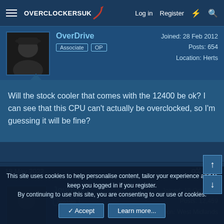Overclockers UK — Log in | Register
OverDrive — Associate, OP — Joined: 28 Feb 2012 — Posts: 654 — Location: Herts
Will the stock cooler that comes with the 12400 be ok? I can see that this CPU can't actually be overclocked, so I'm guessing it will be fine?
19 May 2022 — #13
Journey — Soldato — Joined: 18 Oct 2002 — Posts: 12,459 — Location: West Midlands
This site uses cookies to help personalise content, tailor your experience and to keep you logged in if you register.
By continuing to use this site, you are consenting to our use of cookies.